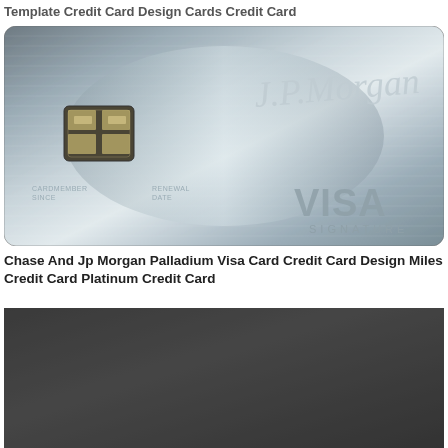Template Credit Card Design Cards Credit Card
[Figure (photo): JP Morgan Palladium Visa Signature credit card with brushed metallic silver finish, EMV chip, JP Morgan cursive logo, CARDMEMBER SINCE, RENEWAL DATE fields, and VISA SIGNATURE branding]
Chase And Jp Morgan Palladium Visa Card Credit Card Design Miles Credit Card Platinum Credit Card
[Figure (photo): Dark charcoal/graphite colored credit card, partially visible at bottom of page]